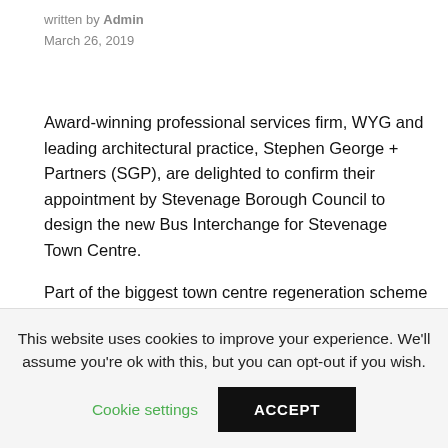written by Admin
March 26, 2019
Award-winning professional services firm, WYG and leading architectural practice, Stephen George + Partners (SGP), are delighted to confirm their appointment by Stevenage Borough Council to design the new Bus Interchange for Stevenage Town Centre.
Part of the biggest town centre regeneration scheme in the east of England with a gross development value of £300m, the project was awarded via the HCA Framework and brings back
This website uses cookies to improve your experience. We'll assume you're ok with this, but you can opt-out if you wish.
Cookie settings
ACCEPT